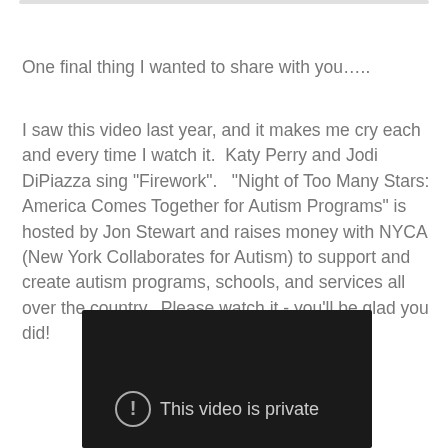One final thing I wanted to share with you…..
I saw this video last year, and it makes me cry each and every time I watch it.  Katy Perry and Jodi DiPiazza sing "Firework".   "Night of Too Many Stars: America Comes Together for Autism Programs" is hosted by Jon Stewart and raises money with NYCA (New York Collaborates for Autism) to support and create autism programs, schools, and services all over the country.  Please watch it - you'll be glad you did!
[Figure (screenshot): Embedded video player with dark background showing 'This video is private' message with an exclamation mark icon]